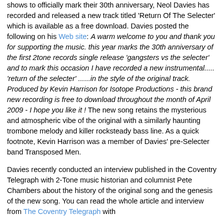shows to officially mark their 30th anniversary, Neol Davies has recorded and released a new track titled 'Return Of The Selecter' which is available as a free download. Davies posted the following on his Web site: A warm welcome to you and thank you for supporting the music. this year marks the 30th anniversary of the first 2tone records single release 'gangsters vs the selecter' and to mark this occasion I have recorded a new instrumental..... 'return of the selecter' ......in the style of the original track. Produced by Kevin Harrison for Isotope Productions - this brand new recording is free to download throughout the month of April 2009 - I hope you like it ! The new song retains the mysterious and atmospheric vibe of the original with a similarly haunting trombone melody and killer rocksteady bass line. As a quick footnote, Kevin Harrison was a member of Davies' pre-Selecter band Transposed Men.
Davies recently conducted an interview published in the Coventry Telegraph with 2-Tone music historian and columnist Pete Chambers about the history of the original song and the genesis of the new song. You can read the whole article and interview from The Coventry Telegraph with